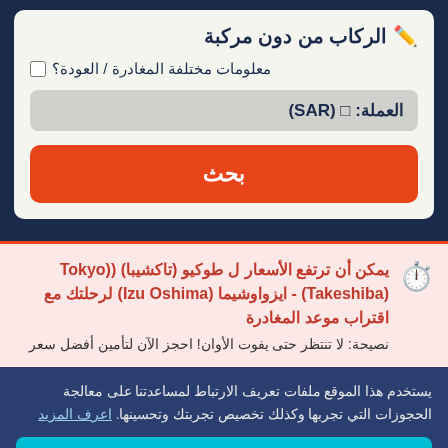✏️ الركاب من دون مركبة
■ معلومات مختلفة المغادرة / العودة؟
العملة: □ (SAR)
بحث
يمكن أن ترتفع الأسعار ل طوكيو (تاكشيبا) ((Tokyo (Takeshiba) - ايزواوشيما (Izu Oshima) لرحلتك مع اقتراب موعد المغادرة
نصيحة: لا تنتظر حتى يفوت الأوان! احجز الآن لتأمين أفضل سعر
يستخدم هذا الموقع ملفات تعريف الارتباط لمساعدتنا على معالجة الحجوزات التي تجربها وكذلك تخصيص تجربتك وتحسينها. اعرف المزيد
حسنًا!